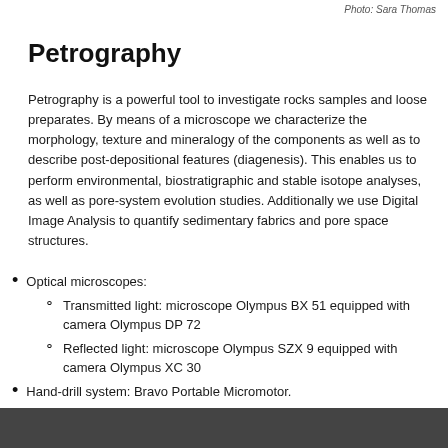Photo: Sara Thomas
Petrography
Petrography is a powerful tool to investigate rocks samples and loose preparates. By means of a microscope we characterize the morphology, texture and mineralogy of the components as well as to describe post-depositional features (diagenesis). This enables us to perform environmental, biostratigraphic and stable isotope analyses, as well as pore-system evolution studies. Additionally we use Digital Image Analysis to quantify sedimentary fabrics and pore space structures.
Optical microscopes:
Transmitted light: microscope Olympus BX 51 equipped with camera Olympus DP 72
Reflected light: microscope Olympus SZX 9 equipped with camera Olympus XC 30
Hand-drill system: Bravo Portable Micromotor.
[Figure (photo): Photograph strip at the bottom of the page, partially visible, dark toned image.]